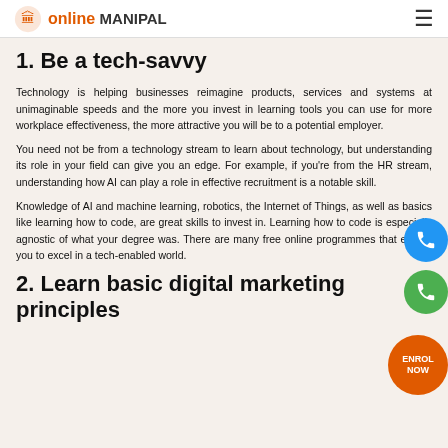online MANIPAL
1. Be a tech-savvy
Technology is helping businesses reimagine products, services and systems at unimaginable speeds and the more you invest in learning tools you can use for more workplace effectiveness, the more attractive you will be to a potential employer.
You need not be from a technology stream to learn about technology, but understanding its role in your field can give you an edge. For example, if you're from the HR stream, understanding how AI can play a role in effective recruitment is a notable skill.
Knowledge of AI and machine learning, robotics, the Internet of Things, as well as basics like learning how to code, are great skills to invest in. Learning how to code is especially agnostic of what your degree was. There are many free online programmes that enable you to excel in a tech-enabled world.
2. Learn basic digital marketing principles